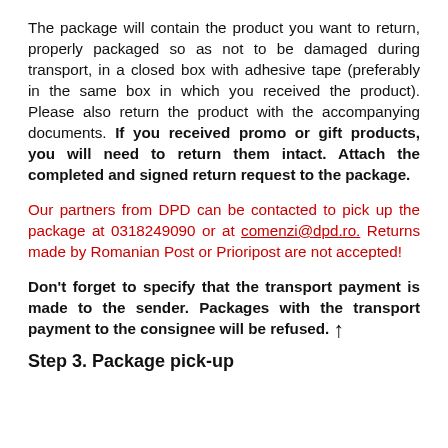The package will contain the product you want to return, properly packaged so as not to be damaged during transport, in a closed box with adhesive tape (preferably in the same box in which you received the product). Please also return the product with the accompanying documents. If you received promo or gift products, you will need to return them intact. Attach the completed and signed return request to the package.
Our partners from DPD can be contacted to pick up the package at 0318249090 or at comenzi@dpd.ro. Returns made by Romanian Post or Prioripost are not accepted!
Don't forget to specify that the transport payment is made to the sender. Packages with the transport payment to the consignee will be refused.
Step 3. Package pick-up